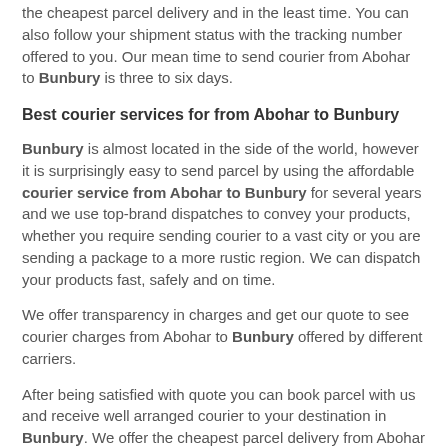the cheapest parcel delivery and in the least time. You can also follow your shipment status with the tracking number offered to you. Our mean time to send courier from Abohar to Bunbury is three to six days.
Best courier services for from Abohar to Bunbury
Bunbury is almost located in the side of the world, however it is surprisingly easy to send parcel by using the affordable courier service from Abohar to Bunbury for several years and we use top-brand dispatches to convey your products, whether you require sending courier to a vast city or you are sending a package to a more rustic region. We can dispatch your products fast, safely and on time.
We offer transparency in charges and get our quote to see courier charges from Abohar to Bunbury offered by different carriers.
After being satisfied with quote you can book parcel with us and receive well arranged courier to your destination in Bunbury. We offer the cheapest parcel delivery from Abohar to Australia and in the nominal time.
We offer the range of options for your courier delivery to